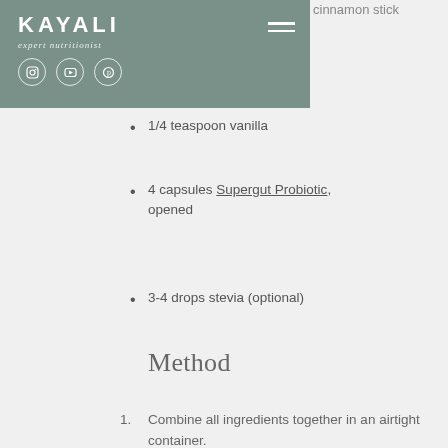cinnamon stick
1/4 teaspoon vanilla
4 capsules Supergut Probiotic, opened
3-4 drops stevia (optional)
Method
1. Combine all ingredients together in an airtight container.
2. Pop in the fridge and allow it to steep over night ready for use in the morning.
3. Enjoy.